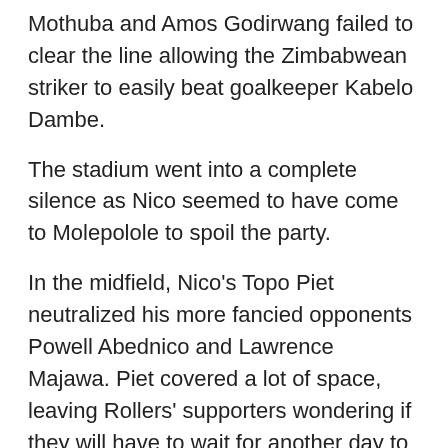Mothuba and Amos Godirwang failed to clear the line allowing the Zimbabwean striker to easily beat goalkeeper Kabelo Dambe.
The stadium went into a complete silence as Nico seemed to have come to Molepolole to spoil the party.
In the midfield, Nico's Topo Piet neutralized his more fancied opponents Powell Abednico and Lawrence Majawa. Piet covered a lot of space, leaving Rollers' supporters wondering if they will have to wait for another day to see their heroes lifting the title.
Rollers' stand-in captain, Onalethata Tshekiso, had other thoughts as he brought his side back into the game in the 19th minute.